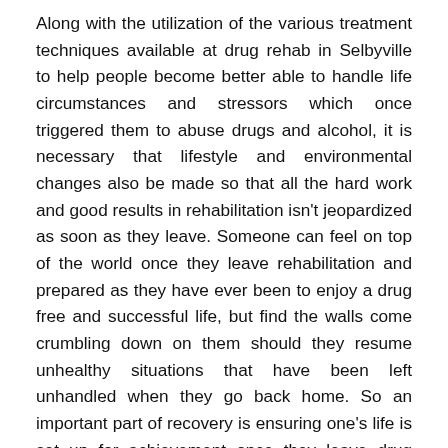Along with the utilization of the various treatment techniques available at drug rehab in Selbyville to help people become better able to handle life circumstances and stressors which once triggered them to abuse drugs and alcohol, it is necessary that lifestyle and environmental changes also be made so that all the hard work and good results in rehabilitation isn't jeopardized as soon as they leave. Someone can feel on top of the world once they leave rehabilitation and prepared as they have ever been to enjoy a drug free and successful life, but find the walls come crumbling down on them should they resume unhealthy situations that have been left unhandled when they go back home. So an important part of recovery is ensuring one's life is set up for achievement once they leave drug rehab in Selbyville by making every one of the tough but essential choices and lifestyle changes that will help them be capable of keep a healthy and drug-free lifestyle for a long time to come.
Lots of the changes which must be made are obvious, like disassociating oneself with people that one once used drugs with or breaking up with an abusive boyfriend. It may also mean obtaining stable work or perhaps a place to live that wouldn't jeopardize one's continued abstinence. As part of treatment.